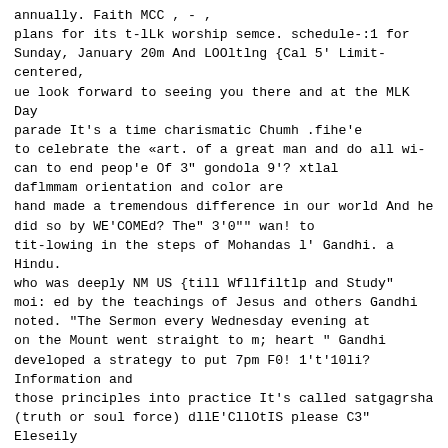annually. Faith MCC , - ,
plans for its t-lLk worship semce. schedule-:1 for
Sunday, January 20m And LOOltlng {Cal 5' Limit-centered,
ue look forward to seeing you there and at the MLK Day
parade It's a time charismatic Chumh .fihe'e
to celebrate the «art. of a great man and do all wi-
can to end peop'e Of 3" gondola 9'? xtlal
daflmmam orientation and color are
hand made a tremendous difference in our world And he
did so by WE'COMEd? The" 3'0"" wan! to
tit-lowing in the steps of Mohandas l' Gandhi. a Hindu.
who was deeply NM US {till Wfllfiltlp and Study"
moi: ed by the teachings of Jesus and others Gandhi
noted. “The Sermon every Wednesday evening at
on the Mount went straight to m; heart " Gandhi
developed a strategy to put 7pm F0! 1't'10li?
Information and
those principles into practice It's called satgagrsha
(truth or soul force) dllE'CllOtIS please C3" Eleseily
(it
And later. a young seminary student named Martin.
d1SCC-v ered Gandhi's Corina at 25.1-?[05 (a e-mail
11-;
' soul force principles It was the guiding light tor
the nonviolent strategies for at
C'fib1'fl1?'833@'801.t2ctltt $35-33
change during the leRightsMo-ement IOOk forward 1'3
lieaimq {mm
llonuolence has emerged as a strategy to bring about